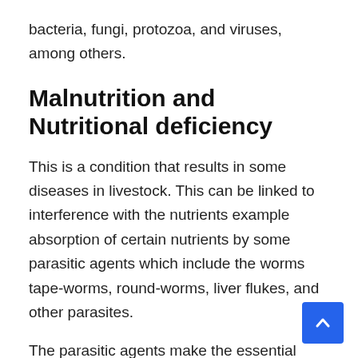bacteria, fungi, protozoa, and viruses, among others.
Malnutrition and Nutritional deficiency
This is a condition that results in some diseases in livestock. This can be linked to interference with the nutrients example absorption of certain nutrients by some parasitic agents which include the worms tape-worms, round-worms, liver flukes, and other parasites.
The parasitic agents make the essential nutrients unavailable for animal use. Diseases due to nutritional deficiency can be corrected